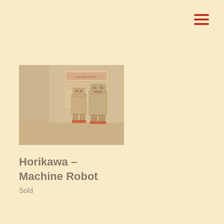[Figure (photo): A vintage toy robot (Horikawa Machine Robot) displayed in what appears to be a shop or museum setting, with a product banner/sign visible behind it. The image has a warm, faded sepia-orange tone overlay.]
Horikawa – Machine Robot
Sold